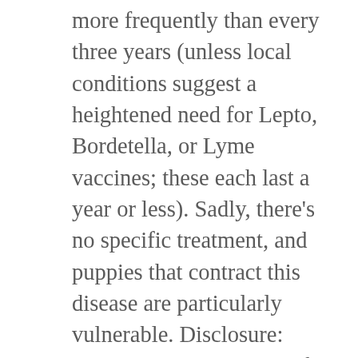more frequently than every three years (unless local conditions suggest a heightened need for Lepto, Bordetella, or Lyme vaccines; these each last a year or less). Sadly, there's no specific treatment, and puppies that contract this disease are particularly vulnerable. Disclosure: Bear in mind that some of the links in this post are affiliate links and if you go through them to make a purchase CertaPet.com may earn a commission. Dallas, Texas, 3131 McKinney Ave Ste 502 PMB 25208, 75204-2426, Copyright 2020 CertaPet, all rights reserved. Cats will get tests for feline leukemia and feline immunodeficiency virus. Canine influenza. Learn which vaccinations are a must for your four-legged friend! In order for vaccines to provide the protection puppies need, they are given every two to four weeks until they are at least 16 weeks of age. Not many years ago, the standard practice was to vaccinate young puppies